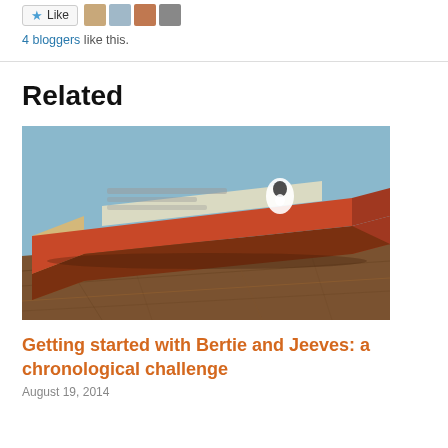[Figure (other): Like button with star icon and four avatar thumbnails of bloggers]
4 bloggers like this.
Related
[Figure (photo): A worn orange hardcover book lying on a wooden table, viewed from the side/spine angle, with a light blue background. A small white penguin logo is visible on the cover.]
Getting started with Bertie and Jeeves: a chronological challenge
August 19, 2014